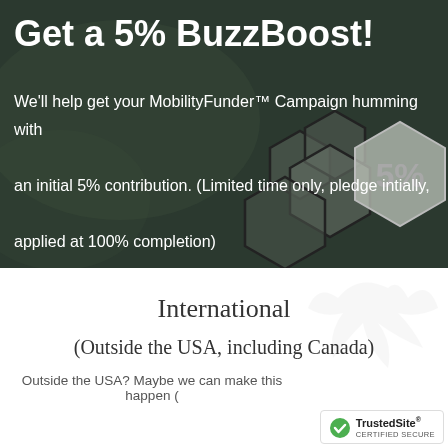Get a 5% BuzzBoost!
We'll help get your MobilityFunder™ Campaign humming with an initial 5% contribution. (Limited time only, pledge intially, applied at 100% completion)
[Figure (infographic): Dark background with leaf/plant imagery and hexagon pattern overlay. Large '5%' text in light gray over hexagonal shapes on the right side.]
International
(Outside the USA, including Canada)
Outside the USA? Maybe we can make this happen (
[Figure (logo): TrustedSite CERTIFIED SECURE badge with green checkmark]